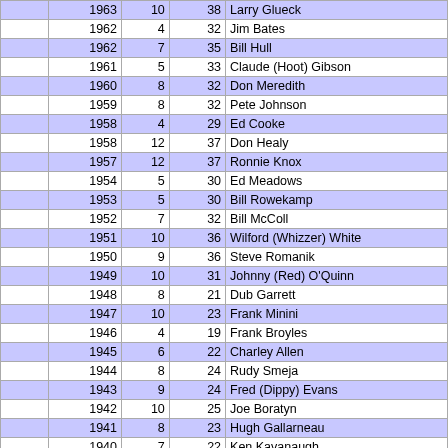|  | Year | Rd | Age | Name |
| --- | --- | --- | --- | --- |
|  | 1963 | 10 | 38 | Larry Glueck |
|  | 1962 | 4 | 32 | Jim Bates |
|  | 1962 | 7 | 35 | Bill Hull |
|  | 1961 | 5 | 33 | Claude (Hoot) Gibson |
|  | 1960 | 8 | 32 | Don Meredith |
|  | 1959 | 8 | 32 | Pete Johnson |
|  | 1958 | 4 | 29 | Ed Cooke |
|  | 1958 | 12 | 37 | Don Healy |
|  | 1957 | 12 | 37 | Ronnie Knox |
|  | 1954 | 5 | 30 | Ed Meadows |
|  | 1953 | 5 | 30 | Bill Rowekamp |
|  | 1952 | 7 | 32 | Bill McColl |
|  | 1951 | 10 | 36 | Wilford (Whizzer) White |
|  | 1950 | 9 | 36 | Steve Romanik |
|  | 1949 | 10 | 31 | Johnny (Red) O'Quinn |
|  | 1948 | 8 | 21 | Dub Garrett |
|  | 1947 | 10 | 23 | Frank Minini |
|  | 1946 | 4 | 19 | Frank Broyles |
|  | 1945 | 6 | 22 | Charley Allen |
|  | 1944 | 8 | 24 | Rudy Smeja |
|  | 1943 | 9 | 24 | Fred (Dippy) Evans |
|  | 1942 | 10 | 25 | Joe Boratyn |
|  | 1941 | 8 | 23 | Hugh Gallarneau |
|  | 1940 | 7 | 22 | Ken Kavanaugh |
|  | 1939 | 6 | 21 | John Wysocki |
|  | 1938 | 10 | 25 | Gary Famiglietti |
|  | 1937 | 8 | 28 | Dick Plasman |
|  | 1936 | 6 | 24 | George Roscoe |
| 4 | 2019 | 24 | 126 | Riley Ridley |
|  | 2018 | 15 | 115 | Joel Iyiegbuniwe |